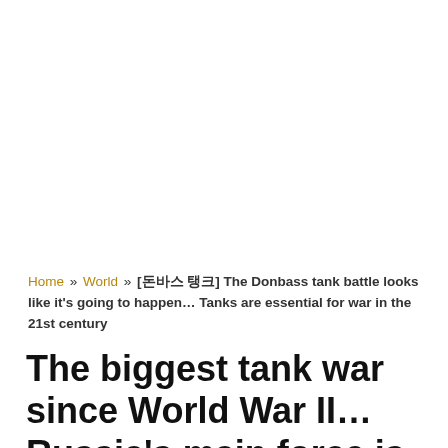Home » World » [돈바스 탱크] The Donbass tank battle looks like it's going to happen... Tanks are essential for war in the 21st century
The biggest tank war since World War II... Russia's main force is the T-72